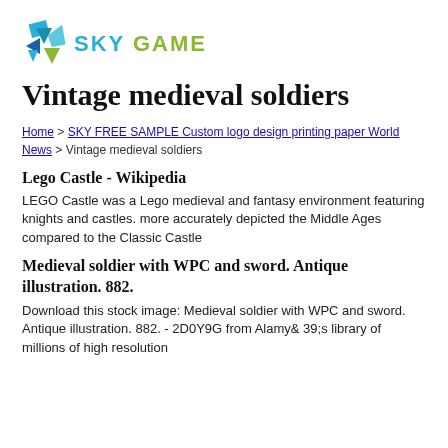[Figure (logo): Sky Game logo with geometric bird/arrow shape in blue and teal, and text SKY GAME in blue and green]
Vintage medieval soldiers
Home > SKY FREE SAMPLE Custom logo design printing paper World News > Vintage medieval soldiers
Lego Castle - Wikipedia
LEGO Castle was a Lego medieval and fantasy environment featuring knights and castles. more accurately depicted the Middle Ages compared to the Classic Castle
Medieval soldier with WPC and sword. Antique illustration. 882.
Download this stock image: Medieval soldier with WPC and sword. Antique illustration. 882. - 2D0Y9G from Alamy& 39;s library of millions of high resolution